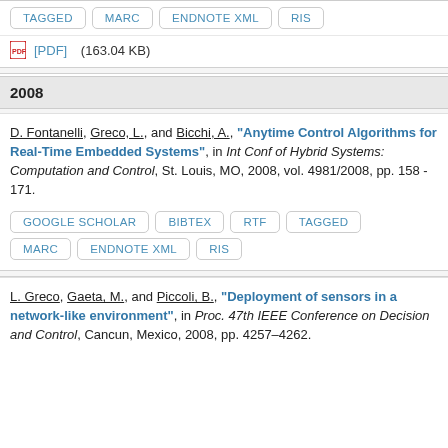TAGGED  MARC  ENDNOTE XML  RIS
[PDF] (163.04 KB)
2008
D. Fontanelli, Greco, L., and Bicchi, A., "Anytime Control Algorithms for Real-Time Embedded Systems", in Int Conf of Hybrid Systems: Computation and Control, St. Louis, MO, 2008, vol. 4981/2008, pp. 158 - 171.
GOOGLE SCHOLAR  BIBTEX  RTF  TAGGED  MARC  ENDNOTE XML  RIS
L. Greco, Gaeta, M., and Piccoli, B., "Deployment of sensors in a network-like environment", in Proc. 47th IEEE Conference on Decision and Control, Cancun, Mexico, 2008, pp. 4257–4262.